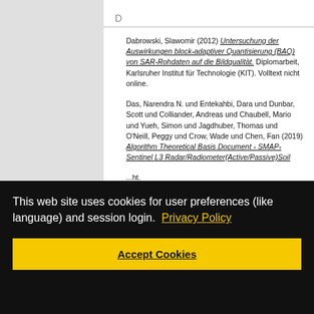D
Dabrowski, Slawomir (2012) Untersuchung der Auswirkungen block-adaptiver Quantisierung (BAQ) von SAR-Rohdaten auf die Bildqualität. Diplomarbeit, Karlsruher Institut für Technologie (KIT). Volltext nicht online.
Das, Narendra N. und Entekahbi, Dara und Dunbar, Scott und Colliander, Andreas und Chaubell, Mario und Yueh, Simon und Jagdhuber, Thomas und O'Neill, Peggy und Crow, Wade und Chen, Fan (2019) Algorithm Theoretical Basis Document - SMAP-Sentinel L3 Radar/Radiometer(Active/Passive)Soil... [partially obscured by cookie banner]
This web site uses cookies for user preferences (like language) and session login. Privacy Policy
Accept Cookies
...und ... ...nd ...ker, ...id D. ...H. und ...esto ...nd ...ive- ...ture ...product. Remote Sensing of Environment, 233, Elsevier. doi:10.1016/j.rse.2019.111380